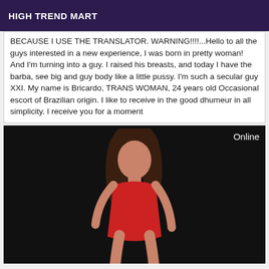HIGH TREND MART
BECAUSE I USE THE TRANSLATOR. WARNING!!!!...Hello to all the guys interested in a new experience, I was born in pretty woman! And I'm turning into a guy. I raised his breasts, and today I have the barba, see big and guy body like a little pussy. I'm such a secular guy XXI. My name is Bricardo, TRANS WOMAN, 24 years old Occasional escort of Brazilian origin. I like to receive in the good dhumeur in all simplicity. I receive you for a moment
[Figure (photo): Woman in red outfit posing against dark background. Online badge visible in top right.]